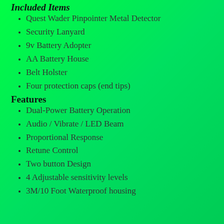Included Items
Quest Wader Pinpointer Metal Detector
Security Lanyard
9v Battery Adopter
AA Battery House
Belt Holster
Four protection caps (end tips)
Features
Dual-Power Battery Operation
Audio / Vibrate / LED Beam
Proportional Response
Retune Control
Two button Design
4 Adjustable sensitivity levels
3M/10 Foot Waterproof housing